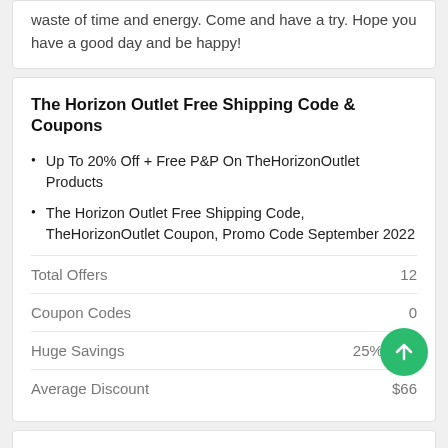waste of time and energy. Come and have a try. Hope you have a good day and be happy!
The Horizon Outlet Free Shipping Code & Coupons
Up To 20% Off + Free P&P On TheHorizonOutlet Products
The Horizon Outlet Free Shipping Code, TheHorizonOutlet Coupon, Promo Code September 2022
|  |  |
| --- | --- |
| Total Offers | 12 |
| Coupon Codes | 0 |
| Huge Savings | 25% OFF |
| Average Discount | $66 |
Tips for The Horizon Outlet Free Shipping Code
Free standard shipping is always available at thehorizonoutlet.com when you order for more than the corresponding price they've made. There are also tons of